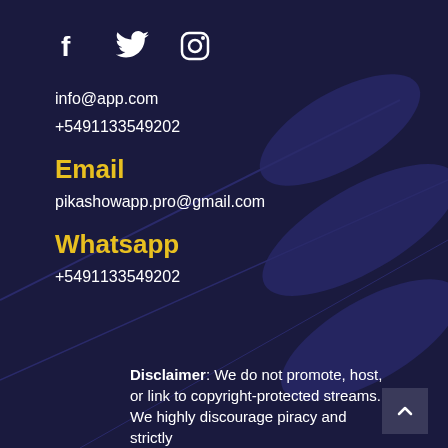[Figure (illustration): Social media icons: Facebook (f), Twitter (bird), Instagram (camera outline) in white on dark navy background]
info@app.com
+5491133549202
Email
pikashowapp.pro@gmail.com
Whatsapp
+5491133549202
Disclaimer: We do not promote, host, or link to copyright-protected streams. We highly discourage piracy and strictly